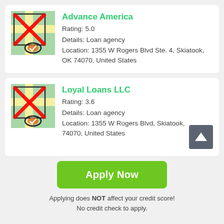[Figure (screenshot): Map thumbnail icon with red X overlay and location pin for Advance America]
Advance America
Rating: 5.0
Details: Loan agency
Location: 1355 W Rogers Blvd Ste. 4, Skiatook, OK 74070, United States
[Figure (screenshot): Map thumbnail icon with red X overlay and location pin for Loyal Loans LLC]
Loyal Loans LLC
Rating: 3.6
Details: Loan agency
Location: 1355 W Rogers Blvd, Skiatook, 74070, United States
Apply Now
Applying does NOT affect your credit score!
No credit check to apply.